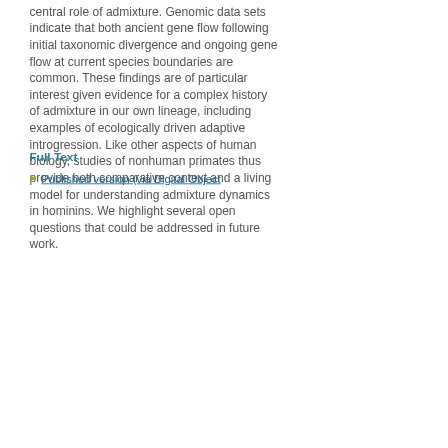central role of admixture. Genomic data sets indicate that both ancient gene flow following initial taxonomic divergence and ongoing gene flow at current species boundaries are common. These findings are of particular interest given evidence for a complex history of admixture in our own lineage, including examples of ecologically driven adaptive introgression. Like other aspects of human biology, studies of nonhuman primates thus provide both comparative context and a living model for understanding admixture dynamics in hominins. We highlight several open questions that could be addressed in future work.
Full Text
Published version (via Digital Object